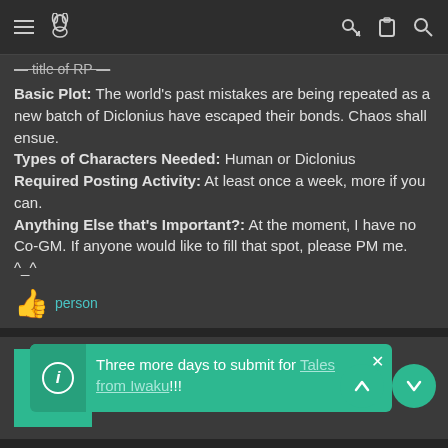Navigation bar with menu, rabbit icon, key, clipboard, and search icons
— title of RP —
Basic Plot: The world's past mistakes are being repeated as a new batch of Diclonius have escaped their bonds. Chaos shall ensue.
Types of Characters Needed: Human or Diclonius
Required Posting Activity: At least once a week, more if you can.
Anything Else that's Important?: At the moment, I have no Co-GM. If anyone would like to fill that spot, please PM me. ^_^
👍 person
Flaremon
Guest
Apr 9, 2010   #7
Roleplay: The Mystery of the White Tiger
Genre: ...
Basic Plot: ... ally gets involved in a ...
Types of Characters Needed: I have one more assistant
Three more days to submit for Tales from Iwaku!!!